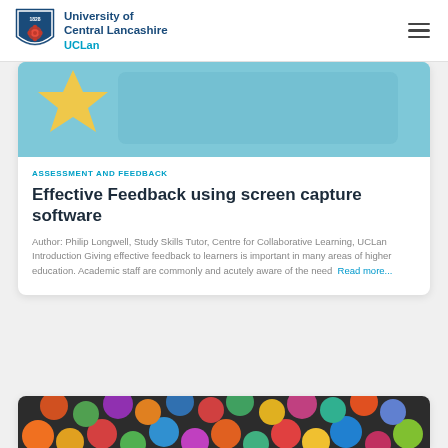University of Central Lancashire UCLan
[Figure (photo): Light blue background with a yellow star shape visible at the top left corner — decorative card image]
ASSESSMENT AND FEEDBACK
Effective Feedback using screen capture software
Author: Philip Longwell, Study Skills Tutor, Centre for Collaborative Learning, UCLan Introduction Giving effective feedback to learners is important in many areas of higher education. Academic staff are commonly and acutely aware of the need Read more...
[Figure (photo): Colorful round candies or Easter eggs in various colors — decorative card image at the bottom]